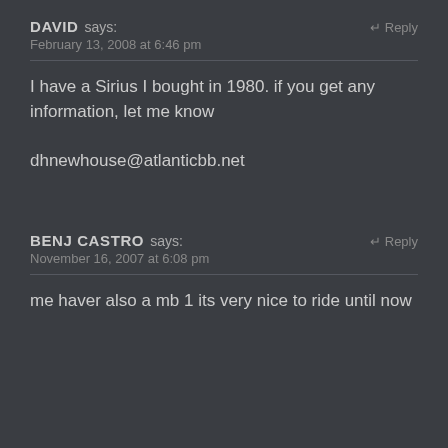DAVID says:
February 13, 2008 at 6:46 pm
I have a Sirius I bought in 1980. if you get any information, let me know

dhnewhouse@atlanticbb.net
BENJ CASTRO says:
November 16, 2007 at 6:08 pm
me haver also a mb 1 its very nice to ride until now